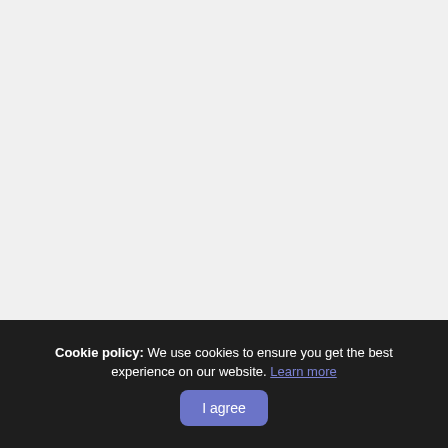Cookie policy: We use cookies to ensure you get the best experience on our website. Learn more  I agree